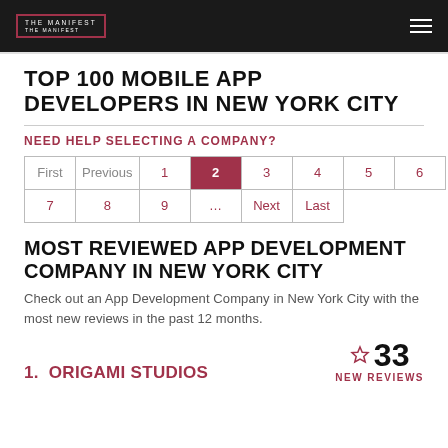THE MANIFEST
TOP 100 MOBILE APP DEVELOPERS IN NEW YORK CITY
NEED HELP SELECTING A COMPANY?
| First | Previous | 1 | 2 | 3 | 4 | 5 | 6 |
| 7 | 8 | 9 | … | Next | Last |  |  |
MOST REVIEWED APP DEVELOPMENT COMPANY IN NEW YORK CITY
Check out an App Development Company in New York City with the most new reviews in the past 12 months.
1.  ORIGAMI STUDIOS
33 NEW REVIEWS